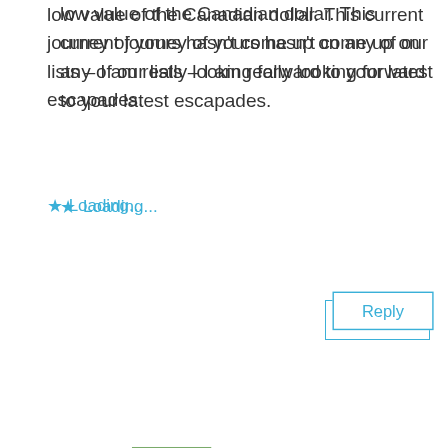low value of the Canadian dollar. This current journey of yours hasn't come up on any of our lists – I am really looking forward to your latest escapades.
Loading...
Reply
ronmitchelladventure on June 10, 2017 at 11:29 am
Blog post coming soon about hiking live volcano Pico de Fogo!
Loading...
Reply
jill i on June 11, 2017 at 4:38 pm